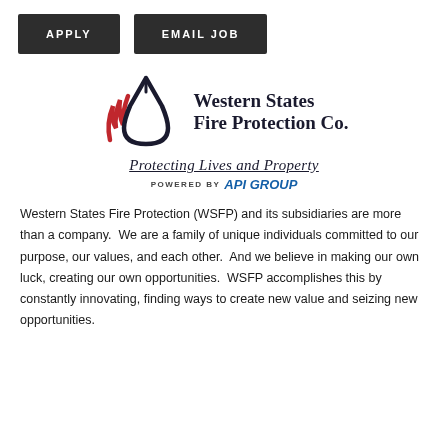APPLY
EMAIL JOB
[Figure (logo): Western States Fire Protection Co. logo with red flame/water drop icon, company name, tagline 'Protecting Lives and Property', and 'POWERED BY APi Group']
Western States Fire Protection (WSFP) and its subsidiaries are more than a company.  We are a family of unique individuals committed to our purpose, our values, and each other.  And we believe in making our own luck, creating our own opportunities.  WSFP accomplishes this by constantly innovating, finding ways to create new value and seizing new opportunities.